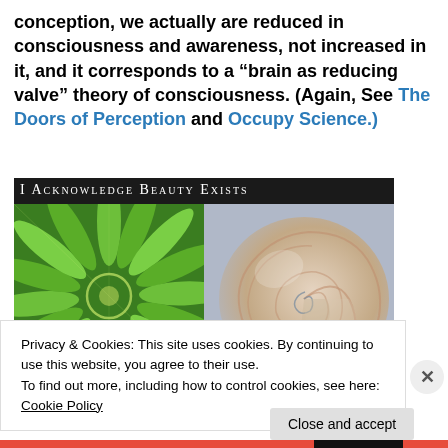conception, we actually are reduced in consciousness and awareness, not increased in it, and it corresponds to a “brain as reducing valve” theory of consciousness. (Again, See The Doors of Perception and Occupy Science.)
[Figure (photo): Two-panel image with black background and header text 'I ACKNOWLEDGE BEAUTY EXISTS'. Left panel shows a green plant with spiral leaf arrangement forming a circular pattern. Right panel shows a cross-section of a nautilus shell displaying a logarithmic spiral.]
Privacy & Cookies: This site uses cookies. By continuing to use this website, you agree to their use.
To find out more, including how to control cookies, see here: Cookie Policy